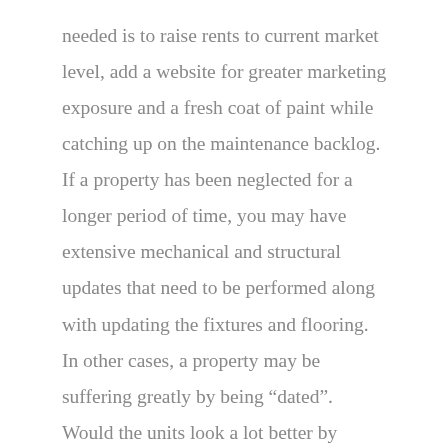needed is to raise rents to current market level, add a website for greater marketing exposure and a fresh coat of paint while catching up on the maintenance backlog. If a property has been neglected for a longer period of time, you may have extensive mechanical and structural updates that need to be performed along with updating the fixtures and flooring. In other cases, a property may be suffering greatly by being “dated”. Would the units look a lot better by simply painting over the current avocado-green color scheme? Then maybe a light reposition is the way to go. It is key to assess which improvements tenants are willing to pay for in